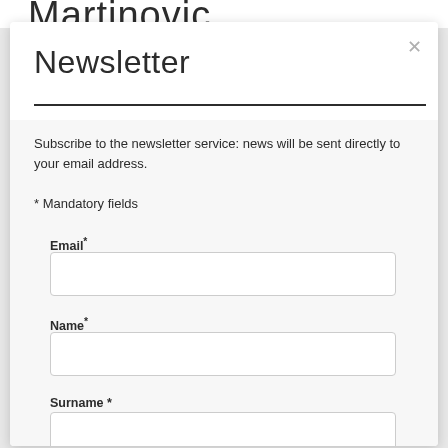Martinovic
Newsletter
Subscribe to the newsletter service: news will be sent directly to your email address.
* Mandatory fields
Email*
Name*
Surname *